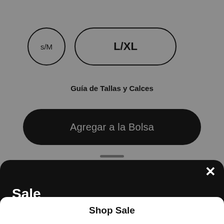[Figure (screenshot): Size selector buttons: S/M (circular outline) and L/XL (pill/rounded rectangle outline, bold text), on grey background]
Guía de Tallas y Calces
[Figure (screenshot): Black rounded pill button labeled 'Agregar a la Bolsa' in grey text]
[Figure (screenshot): Dark modal card with close X button, 'Sale' heading, promotional text, and 'Shop Sale' white button at bottom]